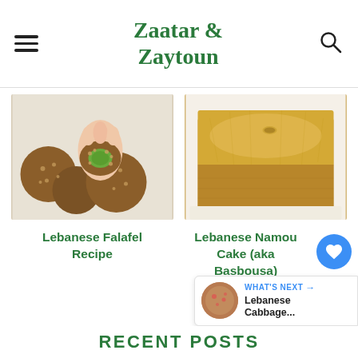Zaatar & Zaytoun
[Figure (photo): Falafel balls being held, showing green interior, coated in sesame seeds]
[Figure (photo): Lebanese Namoura cake (Basbousa) square piece on white surface, golden brown]
Lebanese Falafel Recipe
Lebanese Namoura Cake (aka Basbousa)
12
WHAT'S NEXT → Lebanese Cabbage...
RECENT POSTS